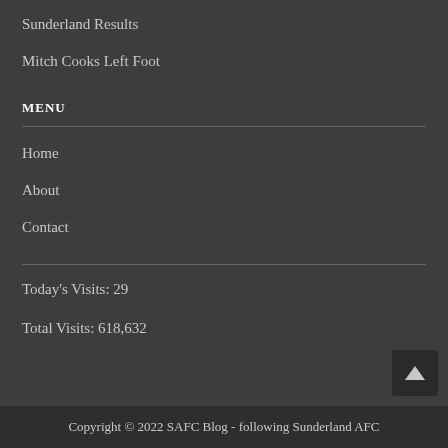Sunderland Results
Mitch Cooks Left Foot
MENU
Home
About
Contact
Today's Visits: 29
Total Visits: 618,632
Copyright © 2022 SAFC Blog - following Sunderland AFC